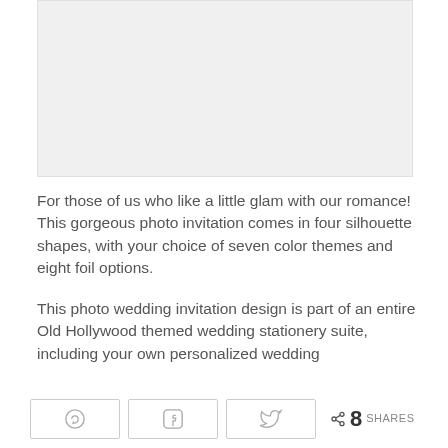[Figure (photo): Light gray placeholder image area at top of page]
For those of us who like a little glam with our romance! This gorgeous photo invitation comes in four silhouette shapes, with your choice of seven color themes and eight foil options.
This photo wedding invitation design is part of an entire Old Hollywood themed wedding stationery suite, including your own personalized wedding
[Figure (other): Social share bar with Pinterest, Facebook, Twitter buttons and share count of 8]